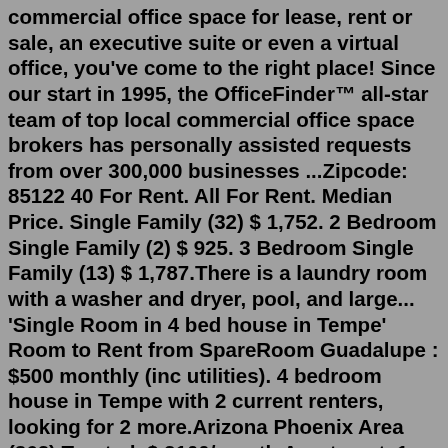commercial office space for lease, rent or sale, an executive suite or even a virtual office, you've come to the right place! Since our start in 1995, the OfficeFinder™ all-star team of top local commercial office space brokers has personally assisted requests from over 300,000 businesses ...Zipcode: 85122 40 For Rent. All For Rent. Median Price. Single Family (32) $ 1,752. 2 Bedroom Single Family (2) $ 925. 3 Bedroom Single Family (13) $ 1,787.There is a laundry room with a washer and dryer, pool, and large... 'Single Room in 4 bed house in Tempe' Room to Rent from SpareRoom Guadalupe : $500 monthly (inc utilities). 4 bedroom house in Tempe with 2 current renters, looking for 2 more.Arizona Phoenix Area (362) Trusted. $ 2100/month Apartment. 1 Room 1 Bath 1 to 3 Months. Furnished Rental Details. Scottsdale Area, Phoenix Area. View Listing. $ 650/month Room. 1 Room Minimum 1 month, Jul 21.Find vacation rentals, cabins, beach houses, unique homes and experiences around the world - all made